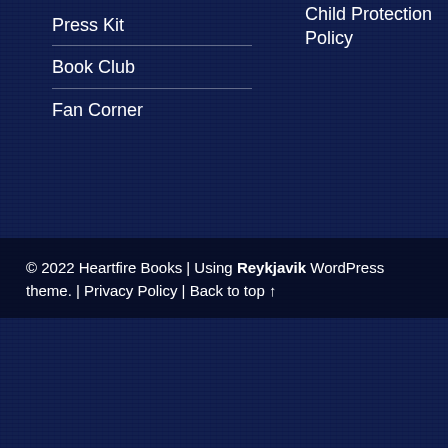Press Kit
Book Club
Fan Corner
Child Protection Policy
© 2022 Heartfire Books | Using Reykjavik WordPress theme. | Privacy Policy | Back to top ↑